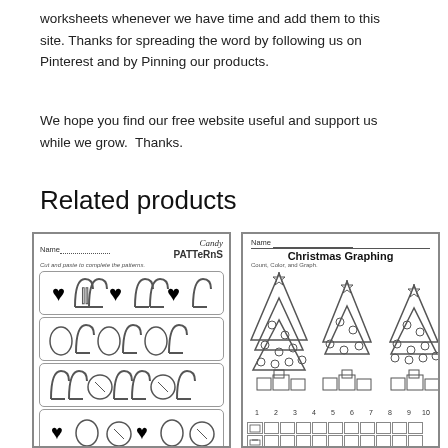worksheets whenever we have time and add them to this site. Thanks for spreading the word by following us on Pinterest and by Pinning our products.
We hope you find our free website useful and support us while we grow.  Thanks.
Related products
[Figure (illustration): Candy Patterns worksheet thumbnail showing Name line, title 'Candy PATTERNS', cut and paste pattern rows with hearts and candy canes, and various pattern rows with ornaments and candies.]
[Figure (illustration): Christmas Graphing worksheet thumbnail showing Name line, title 'Christmas Graphing', subtitle 'Count, Color, and Graph.', three Christmas trees with ornaments and presents below, a number axis 1-10, and a blank graphing grid.]